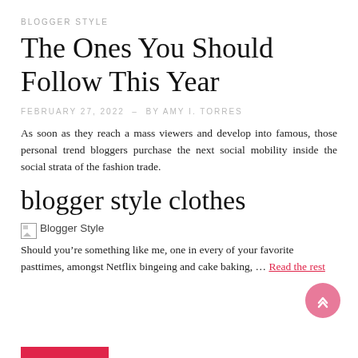BLOGGER STYLE
The Ones You Should Follow This Year
FEBRUARY 27, 2022  –  BY AMY I. TORRES
As soon as they reach a mass viewers and develop into famous, those personal trend bloggers purchase the next social mobility inside the social strata of the fashion trade.
blogger style clothes
[Figure (photo): Broken image placeholder labeled 'Blogger Style']
Should you’re something like me, one in every of your favorite pasttimes, amongst Netflix bingeing and cake baking, … Read the rest